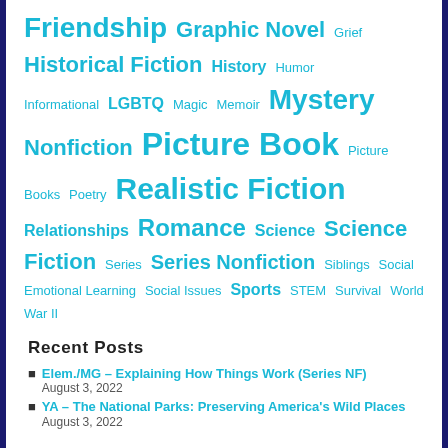Friendship Graphic Novel Grief Historical Fiction History Humor Informational LGBTQ Magic Memoir Mystery Nonfiction Picture Book Picture Books Poetry Realistic Fiction Relationships Romance Science Science Fiction Series Series Nonfiction Siblings Social Emotional Learning Social Issues Sports STEM Survival World War II
Recent Posts
Elem./MG – Explaining How Things Work (Series NF) August 3, 2022
YA – The National Parks: Preserving America's Wild Places August 3, 2022